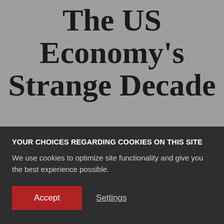The US Economy's Strange Decade
Jun 12, 2019 | LARRY HATHEWAY
YOUR CHOICES REGARDING COOKIES ON THIS SITE
We use cookies to optimize site functionality and give you the best experience possible.
Accept  Settings